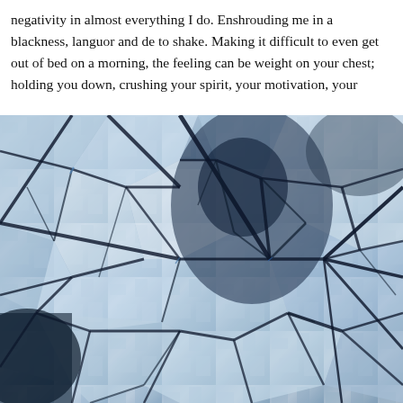negativity in almost everything I do. Enshrouding me in a blackness, languor and de to shake. Making it difficult to even get out of bed on a morning, the feeling can be weight on your chest; holding you down, crushing your spirit, your motivation, your
[Figure (photo): A close-up photograph of a shattered or broken glass with a blue-tinted monochrome effect, showing a person's silhouette or reflection fragmented through the cracked glass. The cracks radiate outward creating a spider-web pattern. The overall mood is dark and somber.]